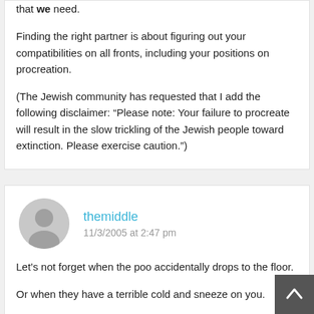that we need.
Finding the right partner is about figuring out your compatibilities on all fronts, including your positions on procreation.
(The Jewish community has requested that I add the following disclaimer: “Please note: Your failure to procreate will result in the slow trickling of the Jewish people toward extinction. Please exercise caution.”)
themiddle
11/3/2005 at 2:47 pm
Let’s not forget when the poo accidentally drops to the floor.
Or when they have a terrible cold and sneeze on you.
Not to mention all that cooking. Why don’t they make